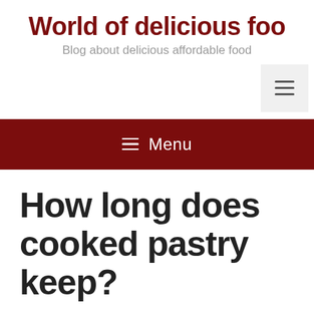World of delicious food
Blog about delicious affordable food
≡ Menu
How long does cooked pastry keep?
Contents [ show ]